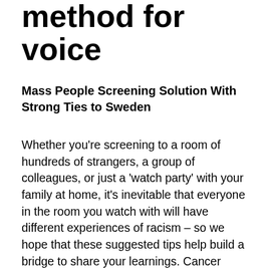method for voice
Mass People Screening Solution With Strong Ties to Sweden
Whether you're screening to a room of hundreds of strangers, a group of colleagues, or just a 'watch party' with your family at home, it's inevitable that everyone in the room you watch with will have different experiences of racism – so we hope that these suggested tips help build a bridge to share your learnings. Cancer screening involves testing apparently healthy people for signs that could show that a cancer is developing. Breast screening uses a test called mammography which involves taking x-rays of the breasts. Screening can help to find